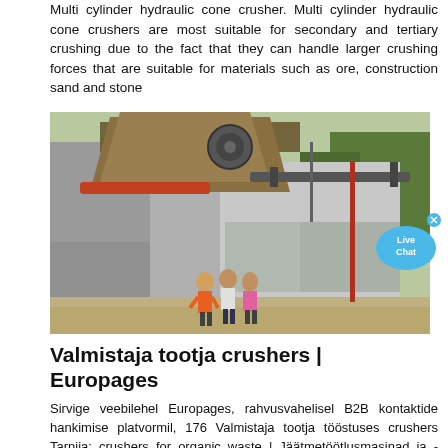Multi cylinder hydraulic cone crusher. Multi cylinder hydraulic cone crushers are most suitable for secondary and tertiary crushing due to the fact that they can handle larger crushing forces that are suitable for materials such as ore, construction sand and stone
[Figure (photo): Photograph of an industrial crushing facility with large machinery. Three workers stand in front of the equipment at a quarry or construction site with trees in background.]
Valmistaja tootja crushers | Europages
Sirvige veebilehel Europages, rahvusvahelisel B2B kontaktide hankimise platvormil, 176 Valmistaja tootja tööstuses crushers Tarnija: crushers for organic waste | Jäätmetöötlusmasinad ja -seadmed | treatment plants for